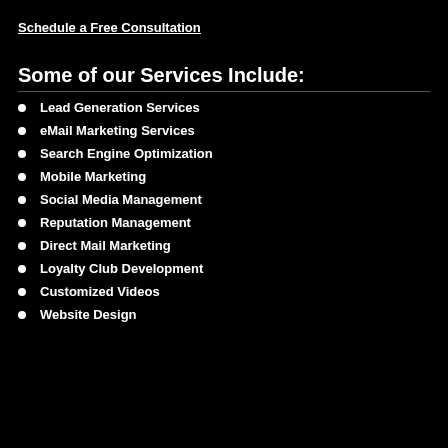Schedule a Free Consultation
Some of our Services Include:
Lead Generation Services
eMail Marketing Services
Search Engine Optimization
Mobile Marketing
Social Media Management
Reputation Management
Direct Mail Marketing
Loyalty Club Development
Customized Videos
Website Design